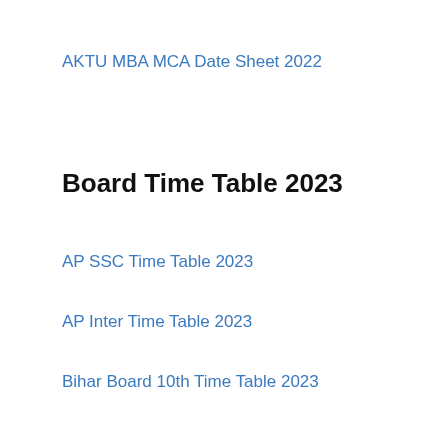AKTU MBA MCA Date Sheet 2022
Board Time Table 2023
AP SSC Time Table 2023
AP Inter Time Table 2023
Bihar Board 10th Time Table 2023